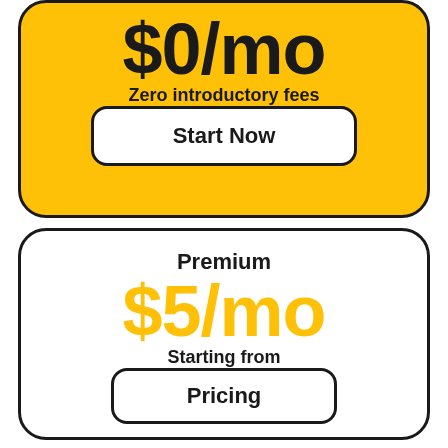$0/mo
Zero introductory fees
Start Now
Premium
$5/mo
Starting from
Pricing